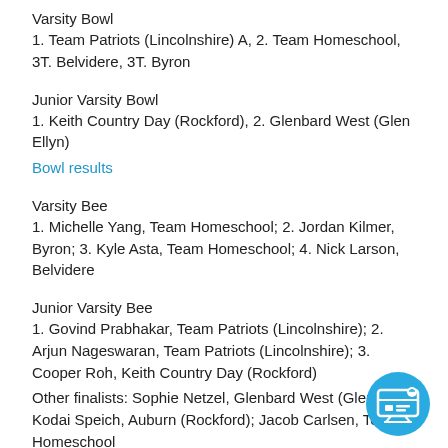Varsity Bowl
1. Team Patriots (Lincolnshire) A, 2. Team Homeschool, 3T. Belvidere, 3T. Byron
Junior Varsity Bowl
1. Keith Country Day (Rockford), 2. Glenbard West (Glen Ellyn)
Bowl results
Varsity Bee
1. Michelle Yang, Team Homeschool; 2. Jordan Kilmer, Byron; 3. Kyle Asta, Team Homeschool; 4. Nick Larson, Belvidere
Junior Varsity Bee
1. Govind Prabhakar, Team Patriots (Lincolnshire); 2. Arjun Nageswaran, Team Patriots (Lincolnshire); 3. Cooper Roh, Keith Country Day (Rockford)
Other finalists: Sophie Netzel, Glenbard West (Glen Ellyn); Kodai Speich, Auburn (Rockford); Jacob Carlsen, Team Homeschool